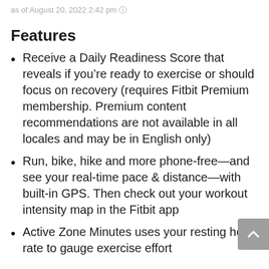as of August 20, 2022 2:42 pm ℹ
Features
Receive a Daily Readiness Score that reveals if you're ready to exercise or should focus on recovery (requires Fitbit Premium membership. Premium content recommendations are not available in all locales and may be in English only)
Run, bike, hike and more phone-free—and see your real-time pace & distance—with built-in GPS. Then check out your workout intensity map in the Fitbit app
Active Zone Minutes uses your resting heart rate to gauge exercise effort